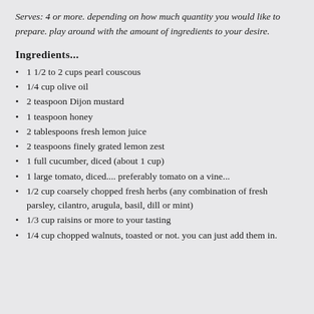Serves: 4 or more. depending on how much quantity you would like to prepare. play around with the amount of ingredients to your desire.
Ingredients...
1 1/2 to 2 cups pearl couscous
1/4 cup olive oil
2 teaspoon Dijon mustard
1 teaspoon honey
2 tablespoons fresh lemon juice
2 teaspoons finely grated lemon zest
1 full cucumber, diced (about 1 cup)
1 large tomato, diced.... preferably tomato on a vine...
1/2 cup coarsely chopped fresh herbs (any combination of fresh parsley, cilantro, arugula, basil, dill or mint)
1/3 cup raisins or more to your tasting
1/4 cup chopped walnuts, toasted or not. you can just add them in.